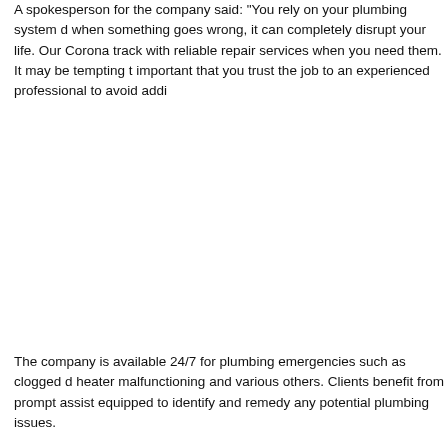A spokesperson for the company said: "You rely on your plumbing system d... when something goes wrong, it can completely disrupt your life. Our Corona... track with reliable repair services when you need them. It may be tempting t... important that you trust the job to an experienced professional to avoid addi...
The company is available 24/7 for plumbing emergencies such as clogged d... heater malfunctioning and various others. Clients benefit from prompt assist... equipped to identify and remedy any potential plumbing issues.